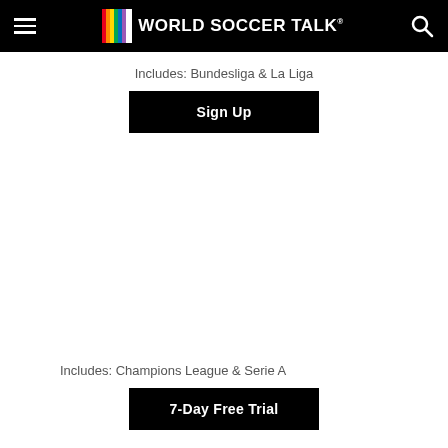World Soccer Talk
Includes: Bundesliga & La Liga
Sign Up
[Figure (other): Advertisement/empty space in the middle of the page]
Includes: Champions League & Serie A
7-Day Free Trial